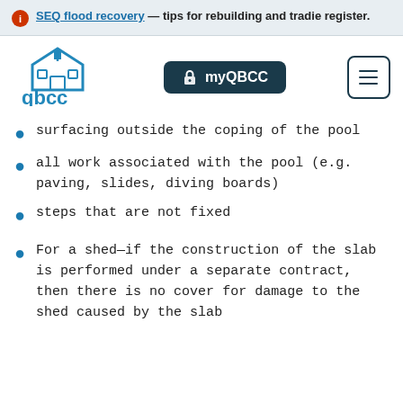SEQ flood recovery — tips for rebuilding and tradie register.
[Figure (logo): QBCC logo — stylized house with flag, teal/blue color, text 'qbcc']
surfacing outside the coping of the pool
all work associated with the pool (e.g. paving, slides, diving boards)
steps that are not fixed
For a shed—if the construction of the slab is performed under a separate contract, then there is no cover for damage to the shed caused by the slab